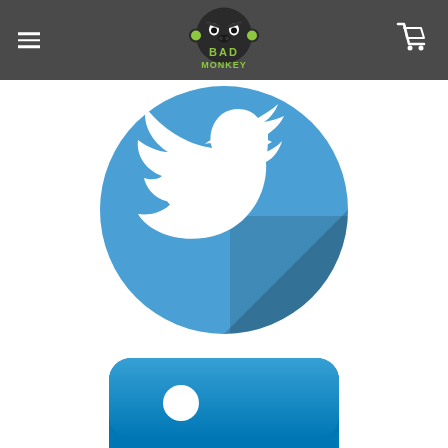[Figure (logo): Bad Monkey logo with green gorilla face graphic and text BAD MONKEY]
[Figure (logo): Hamburger menu icon (three horizontal white lines) in top left of dark header]
[Figure (logo): Shopping cart icon in white in top right of dark header]
[Figure (illustration): Twitter social media icon - blue circle with white bird silhouette and shadow effect]
[Figure (illustration): LinkedIn social media icon - blue rounded square with white 'in' text, partially visible]